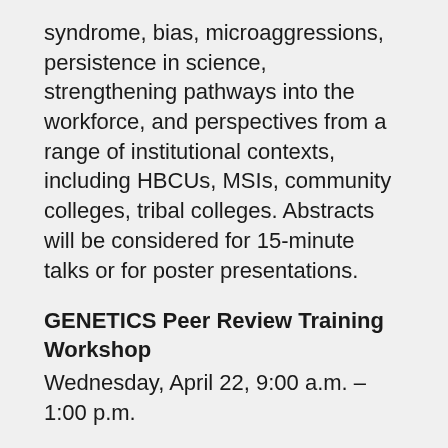syndrome, bias, microaggressions, persistence in science, strengthening pathways into the workforce, and perspectives from a range of institutional contexts, including HBCUs, MSIs, community colleges, tribal colleges. Abstracts will be considered for 15-minute talks or for poster presentations.
GENETICS Peer Review Training Workshop
Wednesday, April 22, 9:00 a.m. – 1:00 p.m.
This event provides an introduction to scientific peer reviewing for early career researchers, including graduate students. The workshop covers best practices and affords